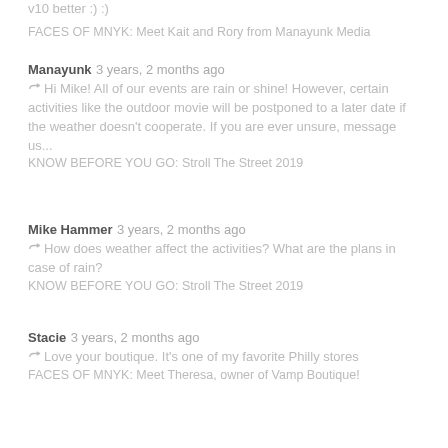v10 better :) :)
FACES OF MNYK: Meet Kait and Rory from Manayunk Media
Manayunk 3 years, 2 months ago
Hi Mike! All of our events are rain or shine! However, certain activities like the outdoor movie will be postponed to a later date if the weather doesn't cooperate. If you are ever unsure, message us...
KNOW BEFORE YOU GO: Stroll The Street 2019
Mike Hammer 3 years, 2 months ago
How does weather affect the activities? What are the plans in case of rain?
KNOW BEFORE YOU GO: Stroll The Street 2019
Stacie 3 years, 2 months ago
Love your boutique. It's one of my favorite Philly stores
FACES OF MNYK: Meet Theresa, owner of Vamp Boutique!